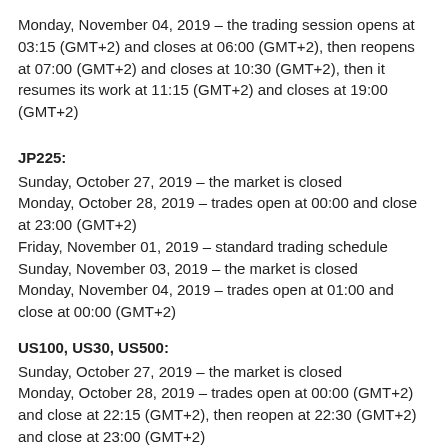Monday, November 04, 2019 – the trading session opens at 03:15 (GMT+2) and closes at 06:00 (GMT+2), then reopens at 07:00 (GMT+2) and closes at 10:30 (GMT+2), then it resumes its work at 11:15 (GMT+2) and closes at 19:00 (GMT+2)
JP225:
Sunday, October 27, 2019 – the market is closed
Monday, October 28, 2019 – trades open at 00:00 and close at 23:00 (GMT+2)
Friday, November 01, 2019 – standard trading schedule
Sunday, November 03, 2019 – the market is closed
Monday, November 04, 2019 – trades open at 01:00 and close at 00:00 (GMT+2)
US100, US30, US500:
Sunday, October 27, 2019 – the market is closed
Monday, October 28, 2019 – trades open at 00:00 (GMT+2) and close at 22:15 (GMT+2), then reopen at 22:30 (GMT+2) and close at 23:00 (GMT+2)
Friday, November 01, 2019 – standard trading schedule
Sunday, November 03, 2019 – the market is closed
Monday, November 04, 2019 – trades open at 01:00 (GMT+2) and